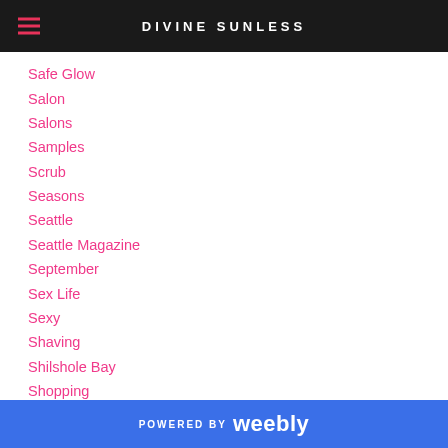DIVINE SUNLESS
Safe Glow
Salon
Salons
Samples
Scrub
Seasons
Seattle
Seattle Magazine
September
Sex Life
Sexy
Shaving
Shilshole Bay
Shopping
POWERED BY weebly